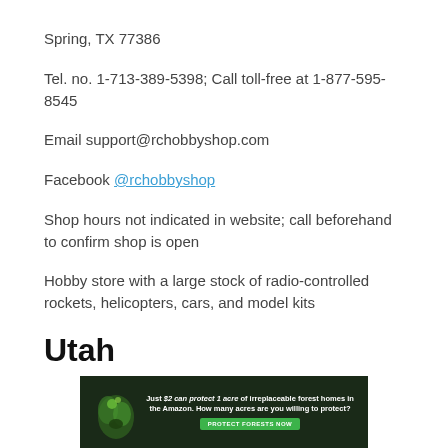Spring, TX 77386
Tel. no. 1-713-389-5398; Call toll-free at 1-877-595-8545
Email support@rchobbyshop.com
Facebook @rchobbyshop
Shop hours not indicated in website; call beforehand to confirm shop is open
Hobby store with a large stock of radio-controlled rockets, helicopters, cars, and model kits
Utah
[Figure (infographic): Advertisement banner with forest/Amazon background and text: 'Just $2 can protect 1 acre of irreplaceable forest homes in the Amazon. How many acres are you willing to protect?' with a green 'PROTECT FORESTS NOW' button]